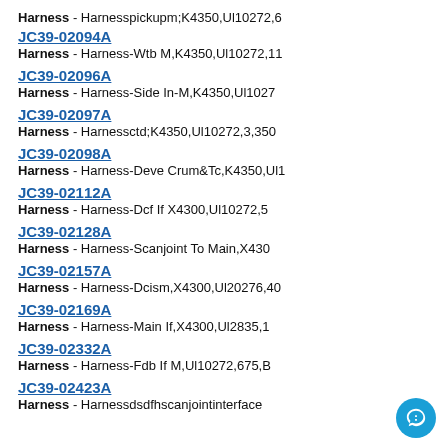Harness - Harnesspickupm;K4350,Ul10272,6
JC39-02094A
Harness - Harness-Wtb M,K4350,Ul10272,11
JC39-02096A
Harness - Harness-Side In-M,K4350,Ul1027
JC39-02097A
Harness - Harnessctd;K4350,Ul10272,3,350
JC39-02098A
Harness - Harness-Deve Crum&Tc,K4350,Ul1
JC39-02112A
Harness - Harness-Dcf If X4300,Ul10272,5
JC39-02128A
Harness - Harness-Scanjoint To Main,X430
JC39-02157A
Harness - Harness-Dcism,X4300,Ul20276,40
JC39-02169A
Harness - Harness-Main If,X4300,Ul2835,1
JC39-02332A
Harness - Harness-Fdb If M,Ul10272,675,B
JC39-02423A
Harness - Harnessdsdfhscanjointinterface